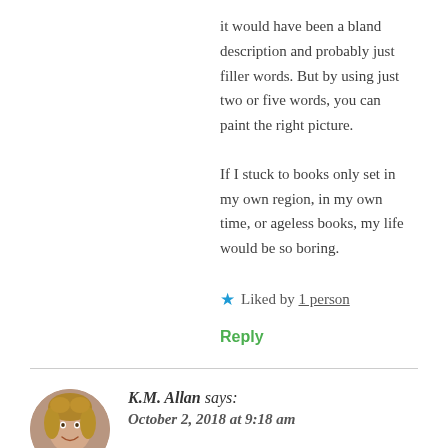it would have been a bland description and probably just filler words. But by using just two or five words, you can paint the right picture.
If I stuck to books only set in my own region, in my own time, or ageless books, my life would be so boring.
★ Liked by 1 person
Reply
K.M. Allan says: October 2, 2018 at 9:18 am
Interesting points. Thanks for sharing 😊.